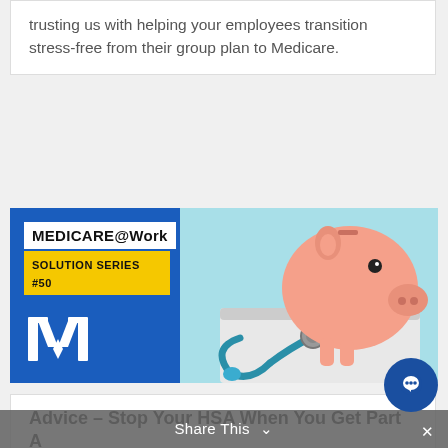trusting us with helping your employees transition stress-free from their group plan to Medicare.
[Figure (infographic): Medicare@Work Solution Series #50 promotional image with blue background on left showing logo and badges, and piggy bank with stethoscope on light blue background on right.]
Advice – Stop Your HSA When You Get Part A
Dec 20, 2021 | 52 Medicare Solutions
If your employees enroll in Medicare while still
Share This